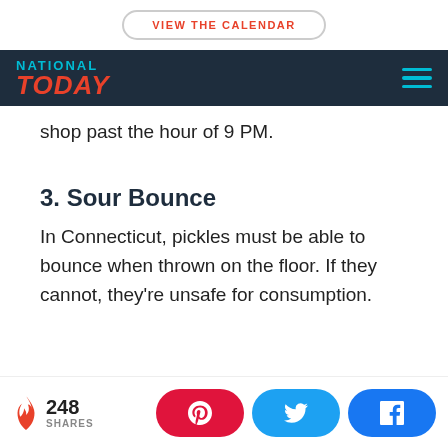VIEW THE CALENDAR
[Figure (logo): National Today logo with hamburger menu on dark navy background]
shop past the hour of 9 PM.
3. Sour Bounce
In Connecticut, pickles must be able to bounce when thrown on the floor. If they cannot, they're unsafe for consumption.
248 SHARES — Pinterest, Twitter, Facebook share buttons